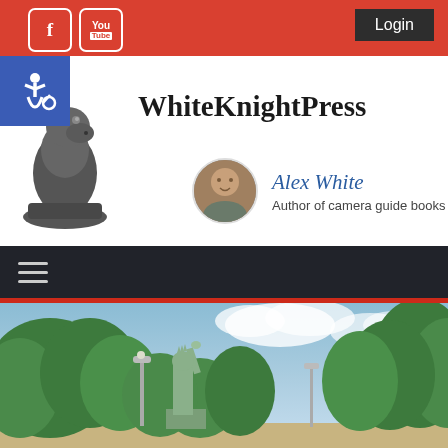WhiteKnightPress website header with red top bar, social icons (Facebook, YouTube), Login button, accessibility icon, site logo, site title WhiteKnightPress, author Alex White - Author of camera guide books, dark navigation bar with hamburger menu
[Figure (screenshot): Website screenshot showing WhiteKnightPress header. Red top bar with Facebook and YouTube icons on left, Login button on right. Blue accessibility wheelchair icon. Chess knight logo. Site title 'WhiteKnightPress' in bold serif font. Circular author photo of Alex White next to italic blue 'Alex White' name and 'Author of camera guide books' subtitle. Dark navigation bar with hamburger menu. Outdoor photo below showing trees and Statue of Liberty replica.]